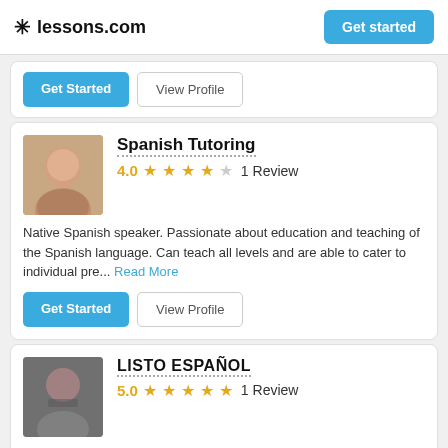lessons.com | Get started
[Figure (screenshot): Top card partially visible showing Get Started and View Profile buttons]
Spanish Tutoring
4.0  ★★★★☆  1 Review
Native Spanish speaker. Passionate about education and teaching of the Spanish language. Can teach all levels and are able to cater to individual pre... Read More
Get Started | View Profile
LISTO ESPAÑOL
5.0  ★★★★★  1 Review
Offer individualized tutoring services to work